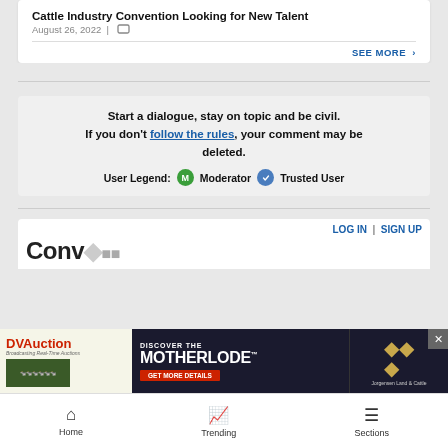Cattle Industry Convention Looking for New Talent
August 26, 2022 |
SEE MORE >
Start a dialogue, stay on topic and be civil. If you don't follow the rules, your comment may be deleted.
User Legend: M Moderator  Trusted User
LOG IN | SIGN UP
Conversation
[Figure (infographic): DVAuction advertisement: Discover the Motherlode, Get More Details, Jorgensen Land & Cattle]
Home  Trending  Sections